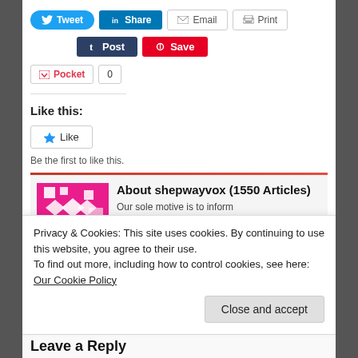[Figure (screenshot): Social media sharing buttons: Tweet (blue), Share (LinkedIn blue), Email (grey outline), Print (grey outline) in a row]
[Figure (screenshot): Second row of sharing buttons: Post (dark blue Tumblr), Save (red Pinterest)]
[Figure (screenshot): Pocket button with count 0]
Like this:
[Figure (screenshot): Like button with star icon]
Be the first to like this.
About shepwayvox (1550 Articles)
Our sole motive is to inform
Privacy & Cookies: This site uses cookies. By continuing to use this website, you agree to their use.
To find out more, including how to control cookies, see here: Our Cookie Policy
Close and accept
Leave a Reply